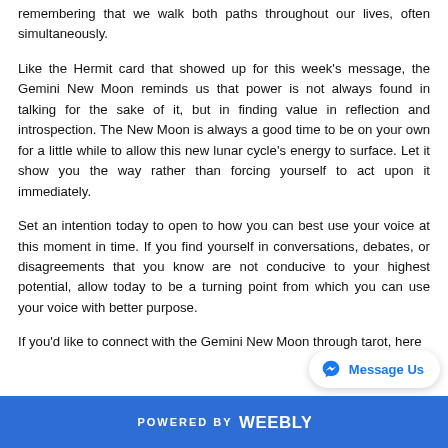remembering that we walk both paths throughout our lives, often simultaneously.
Like the Hermit card that showed up for this week's message, the Gemini New Moon reminds us that power is not always found in talking for the sake of it, but in finding value in reflection and introspection. The New Moon is always a good time to be on your own for a little while to allow this new lunar cycle's energy to surface. Let it show you the way rather than forcing yourself to act upon it immediately.
Set an intention today to open to how you can best use your voice at this moment in time. If you find yourself in conversations, debates, or disagreements that you know are not conducive to your highest potential, allow today to be a turning point from which you can use your voice with better purpose.
If you'd like to connect with the Gemini New Moon through tarot, here
POWERED BY weebly